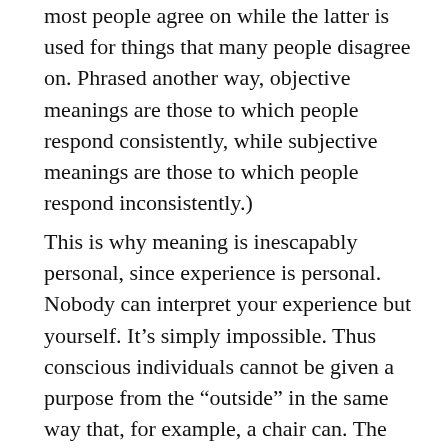most people agree on while the latter is used for things that many people disagree on. Phrased another way, objective meanings are those to which people respond consistently, while subjective meanings are those to which people respond inconsistently.)
This is why meaning is inescapably personal, since experience is personal. Nobody can interpret your experience but yourself. It's simply impossible. Thus conscious individuals cannot be given a purpose from the “outside” in the same way that, for example, a chair can. The purpose of chairs is simply how we behave toward and think about chairs; it is a meaning imposed by us onto a certain class of objects.